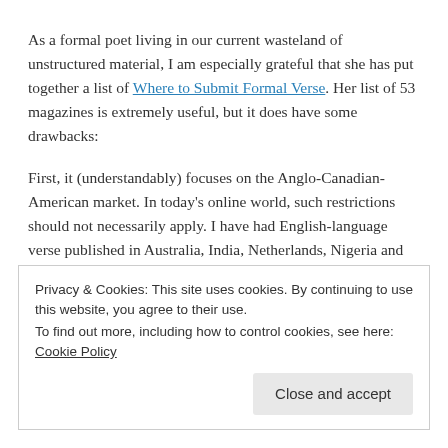As a formal poet living in our current wasteland of unstructured material, I am especially grateful that she has put together a list of Where to Submit Formal Verse. Her list of 53 magazines is extremely useful, but it does have some drawbacks:
First, it (understandably) focuses on the Anglo-Canadian-American market. In today's online world, such restrictions should not necessarily apply. I have had English-language verse published in Australia, India, Netherlands, Nigeria and Turkey. English is very much a global language, and not just in the areas of business and Hollywood.
Privacy & Cookies: This site uses cookies. By continuing to use this website, you agree to their use.
To find out more, including how to control cookies, see here: Cookie Policy
Close and accept